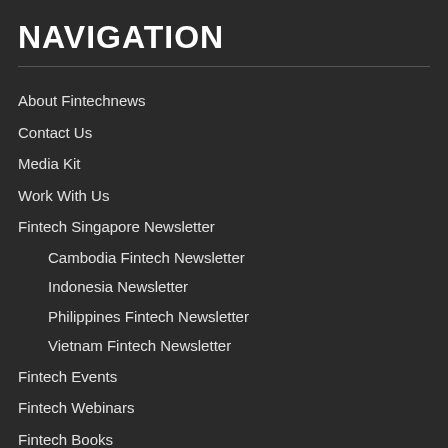NAVIGATION
About Fintechnews
Contact Us
Media Kit
Work With Us
Fintech Singapore Newsletter
Cambodia Fintech Newsletter
Indonesia Newsletter
Philippines Fintech Newsletter
Vietnam Fintech Newsletter
Fintech Events
Fintech Webinars
Fintech Books
FinTech Podcasts